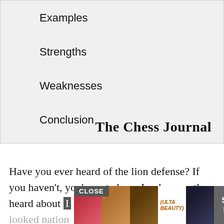Examples
Strengths
Weaknesses
Conclusion
[Figure (logo): The Chess Journal blackletter logo]
Have you ever heard of the lion defense? If you haven't, you're not alone. I only recently heard about it. I looked into it. S...
[Figure (photo): ULTA beauty advertisement banner with close button and Shop Now call to action]